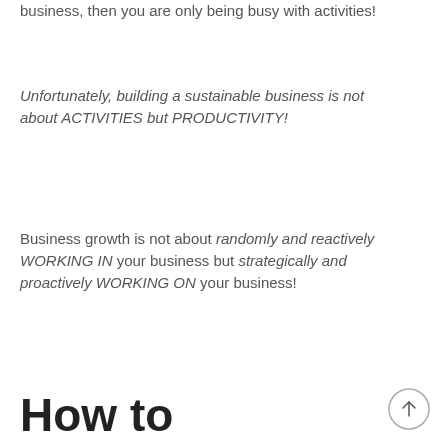business, then you are only being busy with activities!
Unfortunately, building a sustainable business is not about ACTIVITIES but PRODUCTIVITY!
Business growth is not about randomly and reactively WORKING IN your business but strategically and proactively WORKING ON your business!
How to